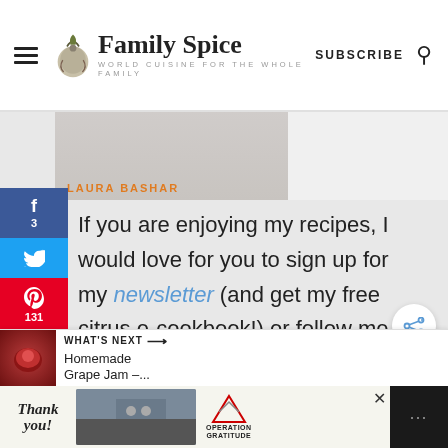Family Spice — World Cuisine for the Whole Family | SUBSCRIBE
[Figure (screenshot): Partial view of a book or image with 'LAURA BASHAR' text in orange letters]
If you are enjoying my recipes, I would love for you to sign up for my newsletter (and get my free citrus e-cookbook!) or follow me on Instagram or Facebook.
[Figure (infographic): Social media share sidebar with Facebook (3), Twitter, Pinterest (131), Reddit, Yummly buttons. Total: 134 SHARES]
[Figure (screenshot): What's Next banner with Homemade Grape Jam thumbnail]
[Figure (screenshot): Bottom advertisement banner: Thank you Operation Gratitude with firefighters photo]